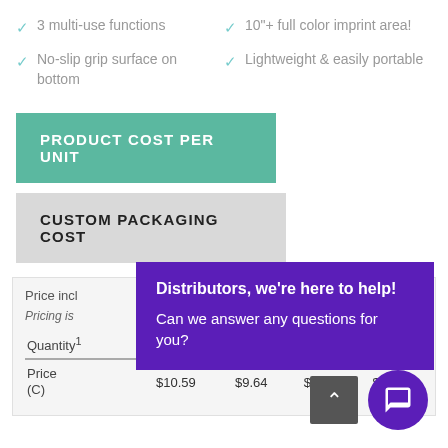✓ 3 multi-use functions
✓ 10"+ full color imprint area!
✓ No-slip grip surface on bottom
✓ Lightweight & easily portable
PRODUCT COST PER UNIT
CUSTOM PACKAGING COST
| Quantity1 | 10 | 25 | 50 | 100 |
| --- | --- | --- | --- | --- |
| Price (C) | $10.59 | $9.64 | $9.15 | $8.95 |
Price incl...
Pricing is...
Distributors, we're here to help! Can we answer any questions for you?